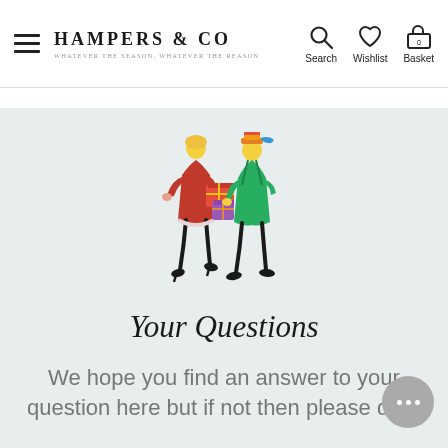Hampers & Co — Whatever the season, whatever the reason. Navigation: Search, Wishlist, Basket
[Figure (illustration): Illustrated cartoon of two fashionable figures — a woman in red and a man in green — exchanging colorful gift boxes]
Your Questions
We hope you find an answer to your question here but if not then please drop